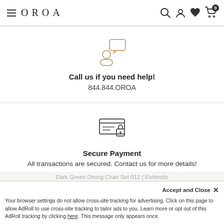OROA
[Figure (illustration): Person with speech/chat bubble icon in tan/gold color]
Call us if you need help!
844.844.OROA
[Figure (illustration): Secure payment icon: horizontal lines representing credit card with a padlock, dark gray color]
Secure Payment
All transactions are secured. Contact us for more details!
Dark Green Dining Chair Set 012 | Eichholtz
Accept and Close ×
Your browser settings do not allow cross-site tracking for advertising. Click on this page to allow AdRoll to use cross-site tracking to tailor ads to you. Learn more or opt out of this AdRoll tracking by clicking here. This message only appears once.